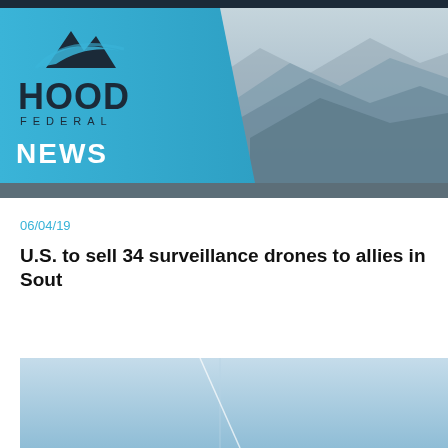HOOD FEDERAL NEWS
06/04/19
U.S. to sell 34 surveillance drones to allies in Sout…
[Figure (photo): Light blue sky photo, likely showing a drone or aircraft in flight, with a faint diagonal contrail visible.]